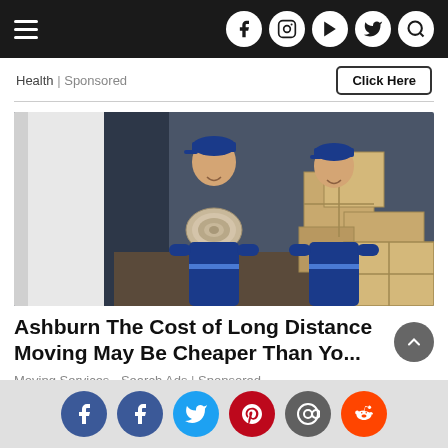Navigation bar with hamburger menu and social icons (Facebook, Instagram, YouTube, Twitter, Search)
Health | Sponsored
Click Here
[Figure (photo): Two male movers in blue uniforms carrying a rolled carpet and cardboard boxes from a moving truck]
Ashburn The Cost of Long Distance Moving May Be Cheaper Than Yo...
Moving Services - Search Ads | Sponsored
Social share icons: Facebook, Facebook, Twitter, Pinterest, Email, Reddit